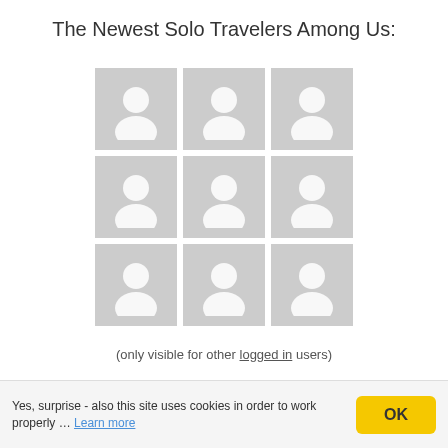The Newest Solo Travelers Among Us:
[Figure (illustration): A 3×3 grid of placeholder user avatar images, each showing a grey silhouette of a person on a light grey background.]
(only visible for other logged in users)
Who Travels Where?
Greece (f)
Netherlands (m)
Yes, surprise - also this site uses cookies in order to work properly … Learn more